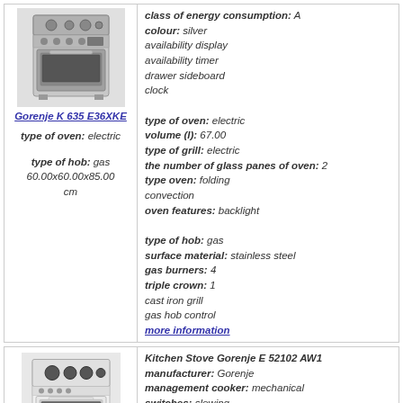[Figure (photo): Photo of Gorenje K 635 E36XKE stove, silver color, with gas hob and oven]
Gorenje K 635 E36XKE
type of oven: electric
type of hob: gas
60.00x60.00x85.00 cm
class of energy consumption: A
colour: silver
availability display
availability timer
drawer sideboard
clock

type of oven: electric
volume (l): 67.00
type of grill: electric
the number of glass panes of oven: 2
type oven: folding
convection
oven features: backlight

type of hob: gas
surface material: stainless steel
gas burners: 4
triple crown: 1
cast iron grill
gas hob control
more information
[Figure (photo): Photo of Kitchen Stove Gorenje E 52102 AW1, white color, electric hob]
Kitchen Stove Gorenje E 52102 AW1
manufacturer: Gorenje
management cooker: mechanical
switches: slewing
width (cm): 50.00
depth (cm): 60.00
height (cm): 85.00
class of energy consumption: B
colour: white